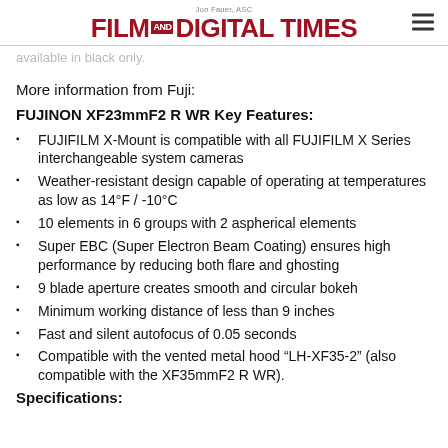Jon Fauer, ASC — FILM AND DIGITAL TIMES
available in black only.
More information from Fuji:
FUJINON XF23mmF2 R WR Key Features:
FUJIFILM X-Mount is compatible with all FUJIFILM X Series interchangeable system cameras
Weather-resistant design capable of operating at temperatures as low as 14°F / -10°C
10 elements in 6 groups with 2 aspherical elements
Super EBC (Super Electron Beam Coating) ensures high performance by reducing both flare and ghosting
9 blade aperture creates smooth and circular bokeh
Minimum working distance of less than 9 inches
Fast and silent autofocus of 0.05 seconds
Compatible with the vented metal hood “LH-XF35-2” (also compatible with the XF35mmF2 R WR).
Specifications: